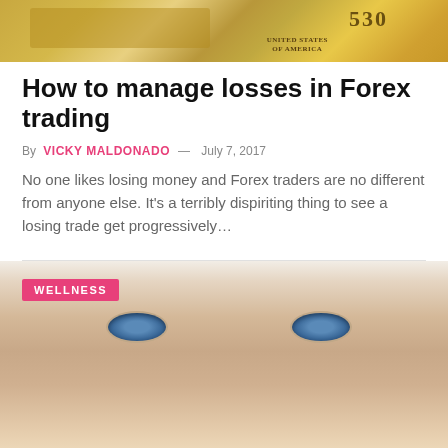[Figure (photo): Photo of currency/money bills in background, top banner image]
How to manage losses in Forex trading
By VICKY MALDONADO — July 7, 2017
No one likes losing money and Forex traders are no different from anyone else. It's a terribly dispiriting thing to see a losing trade get progressively…
[Figure (photo): Close-up photo of a man's face with blue eyes, with a WELLNESS badge overlay in the top-left corner]